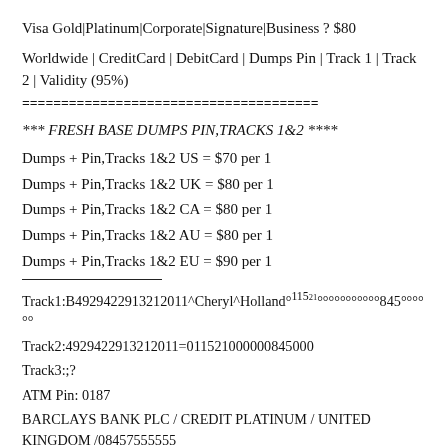Visa Gold|Platinum|Corporate|Signature|Business ? $80
Worldwide | CreditCard | DebitCard | Dumps Pin | Track 1 | Track 2 | Validity (95%)
======================================
*** FRESH BASE DUMPS PIN,TRACKS 1&2 ****
Dumps + Pin,Tracks 1&2 US = $70 per 1
Dumps + Pin,Tracks 1&2 UK = $80 per 1
Dumps + Pin,Tracks 1&2 CA = $80 per 1
Dumps + Pin,Tracks 1&2 AU = $80 per 1
Dumps + Pin,Tracks 1&2 EU = $90 per 1
Track1:B4929422913212011^Cheryl^Holland°115²¹°°°°°°°°°°°845°°°°°°
Track2:4929422913212011=011521000000845000
Track3:;?
ATM Pin: 0187
BARCLAYS BANK PLC / CREDIT PLATINUM / UNITED KINGDOM /08457555555
Record #00244…
Track1:B4217661386578454^SAINT^MARTIN°315²⁰¹°°°°°°°°°°